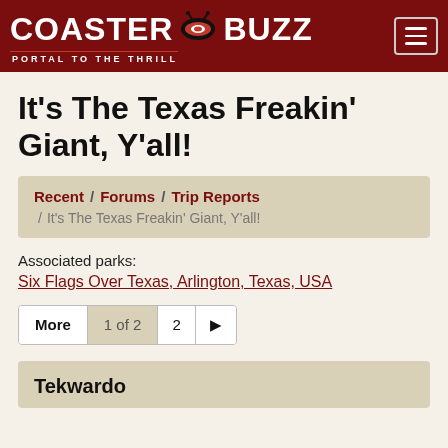CoasterBuzz — Portal to the Thrill
It's The Texas Freakin' Giant, Y'all!
Recent / Forums / Trip Reports / It's The Texas Freakin' Giant, Y'all!
Associated parks:
Six Flags Over Texas, Arlington, Texas, USA
More  1 of 2  2  ▶
Tekwardo